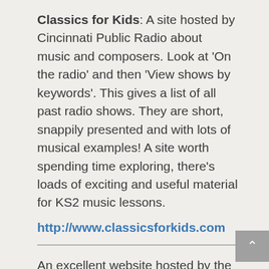Classics for Kids: A site hosted by Cincinnati Public Radio about music and composers. Look at 'On the radio' and then 'View shows by keywords'. This gives a list of all past radio shows. They are short, snappily presented and with lots of musical examples! A site worth spending time exploring, there's loads of exciting and useful material for KS2 music lessons.
http://www.classicsforkids.com
An excellent website hosted by the Dallas Symphony Orchestra with sound recordings of all the instruments found in an symphony orchestra. Also, information about famous composers and sound clips of some of their compositions.